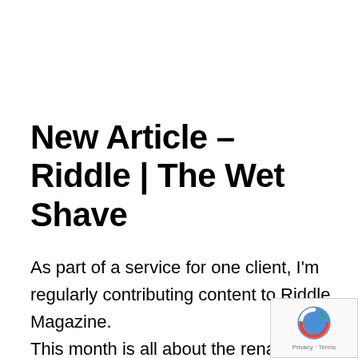New Article – Riddle | The Wet Shave
As part of a service for one client, I'm regularly contributing content to Riddle Magazine.
This month is all about the renaissance of wet shaving, and how guys are taking